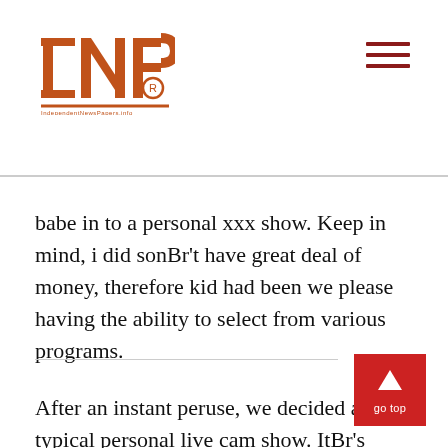INP logo and navigation menu
babe in to a personal xxx show. Keep in mind, i did sonBr't have great deal of money, therefore kid had been we please having the ability to select from various programs.
After an instant peruse, we decided a typical personal live cam show. ItBr's perhaps not the option that is cheapest, nonetheless it provides me personally control. Hey, i enjoy bang, therefore if some body will come in to view, well heck, that will just provide to help make the thing that is whole much hotter.